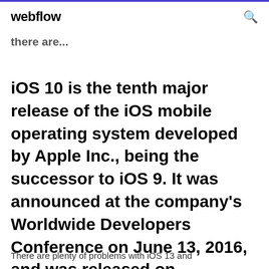webflow
there are...
iOS 10 is the tenth major release of the iOS mobile operating system developed by Apple Inc., being the successor to iOS 9. It was announced at the company's Worldwide Developers Conference on June 13, 2016, and was released on September 13...
There are plenty of problems with iOS 13 and